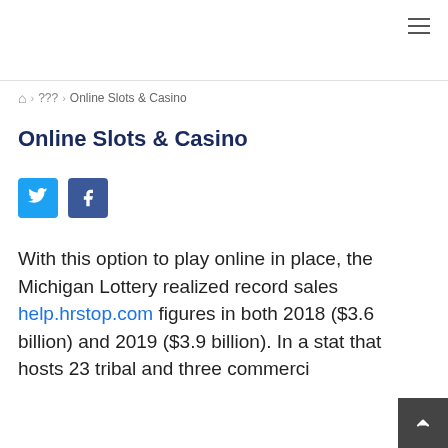Home > ??? > Online Slots & Casino
Online Slots & Casino
[Figure (other): Twitter and Facebook social share buttons]
With this option to play online in place, the Michigan Lottery realized record sales help.hrstop.com figures in both 2018 ($3.6 billion) and 2019 ($3.9 billion). In a sta... that hosts 23 tribal and three commerci...